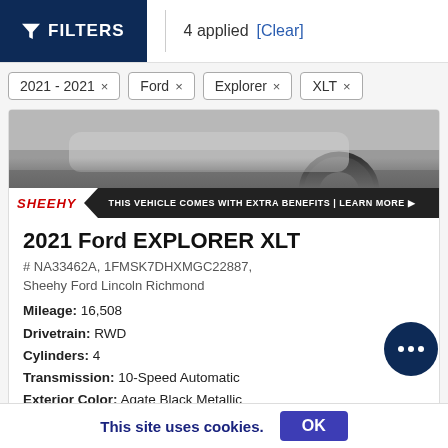FILTERS | 4 applied [Clear]
2021 - 2021 ×
Ford ×
Explorer ×
XLT ×
[Figure (photo): Partial view of a vehicle (tire visible) with a Sheehy banner reading THIS VEHICLE COMES WITH EXTRA BENEFITS | LEARN MORE]
2021 Ford EXPLORER XLT
# NA33462A, 1FMSK7DHXMGC22887,
Sheehy Ford Lincoln Richmond
Mileage: 16,508
Drivetrain: RWD
Cylinders: 4
Transmission: 10-Speed Automatic
Exterior Color: Agate Black Metallic
[Figure (other): Two black color swatches]
This site uses cookies. OK